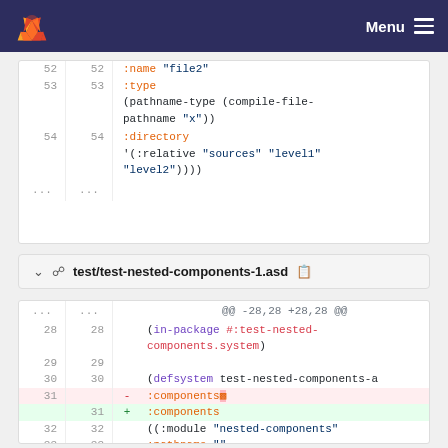Menu
[Figure (screenshot): Code diff view showing two files. First block shows lines 52-54 with Lisp code including :name "file2", :type (pathname-type (compile-file-pathname "x")), :directory '(:relative "sources" "level1" "level2")))). Second block shows test/test-nested-components-1.asd file diff at lines 28-33 with changes to :components in a defsystem form.]
test/test-nested-components-1.asd
@@ -28,28 +28,28 @@
(in-package #:test-nested-components.system)
(defsystem test-nested-components-a
- :components
+ :components
((:module "nested-components"
:pathname ""